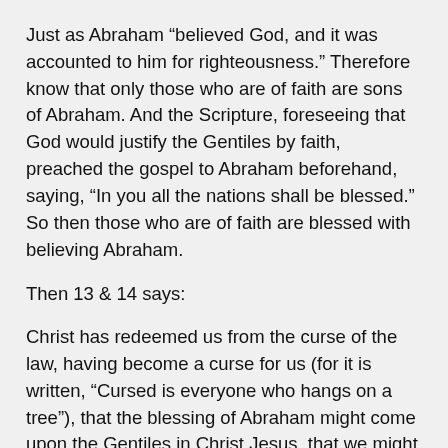Just as Abraham “believed God, and it was accounted to him for righteousness.” Therefore know that only those who are of faith are sons of Abraham. And the Scripture, foreseeing that God would justify the Gentiles by faith, preached the gospel to Abraham beforehand, saying, “In you all the nations shall be blessed.” So then those who are of faith are blessed with believing Abraham.
Then 13 & 14 says:
Christ has redeemed us from the curse of the law, having become a curse for us (for it is written, “Cursed is everyone who hangs on a tree”), that the blessing of Abraham might come upon the Gentiles in Christ Jesus, that we might receive the promise of the Spirit through faith.
I got so excited being reminded that through faith we are sons of Abraham and heirs of the promise (Gal 3:29) and vs 13 & 14 say that Christ has redeemed us from the curse. So when you read Deuteronomy 28; the blessings apply (1-14) and the curses (15-68) do not. Provided we are “of the faith” and we operate through the grace not the works of faith